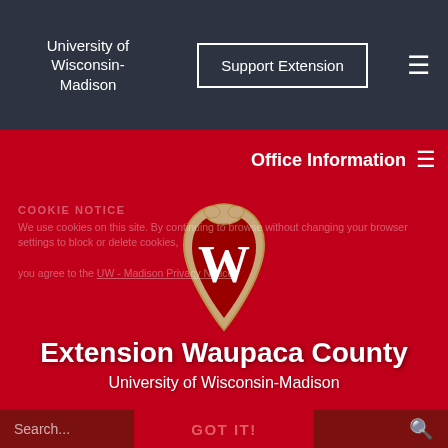University of Wisconsin-Madison
Support Extension
Office Information
[Figure (logo): University of Wisconsin-Madison crest/shield logo with W on red background]
Extension Waupaca County
University of Wisconsin-Madison
COOKIE NOTICE
We use cookies on this site. By continuing to browse without changing your browser settings to block or delete cookies, you agree to the UW - Madison Privacy Notice.
Search...
GOT IT!